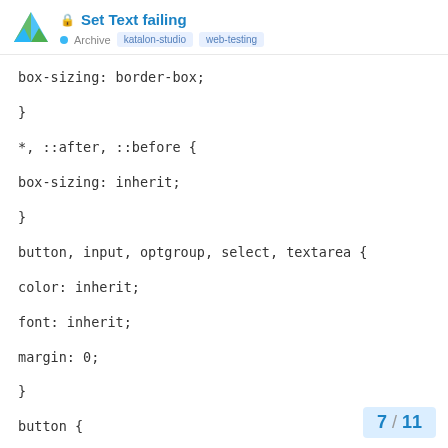Set Text failing — Archive · katalon-studio · web-testing
box-sizing: border-box;
}
*, ::after, ::before {
box-sizing: inherit;
}
button, input, optgroup, select, textarea {
color: inherit;
font: inherit;
margin: 0;
}
button {
7 / 11